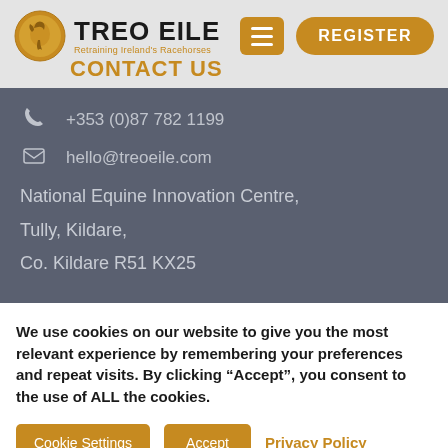[Figure (logo): Treo Eile logo with circular horse emblem and text 'TREO EILE Retraining Ireland's Racehorses']
CONTACT US
+353 (0)87 782 1199
hello@treoeile.com
National Equine Innovation Centre,
Tully, Kildare,
Co. Kildare R51 KX25
We use cookies on our website to give you the most relevant experience by remembering your preferences and repeat visits. By clicking “Accept”, you consent to the use of ALL the cookies.
Cookie Settings  Accept  Privacy Policy